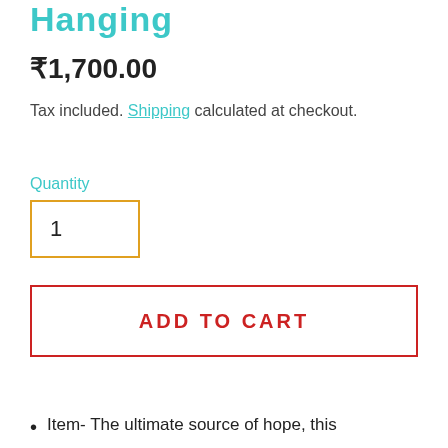Hanging
₹1,700.00
Tax included. Shipping calculated at checkout.
Quantity
1
ADD TO CART
Item- The ultimate source of hope, this